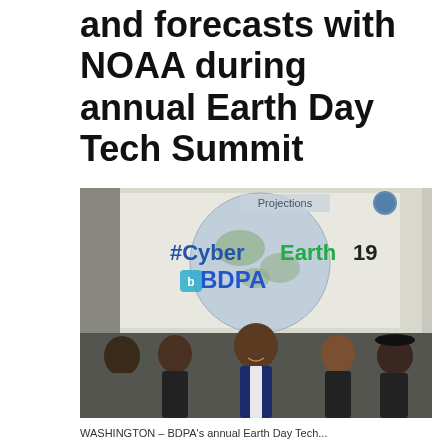and forecasts with NOAA during annual Earth Day Tech Summit
[Figure (photo): Five people standing in front of a projection screen showing '#CyberEarth19 BDPA' and a globe image with 'Projections' text. A man in a blue suit stands in the center, flanked by four young people. The BDPA logo is visible on the screen.]
WASHINGTON – BDPA's annual Earth Day Tech...